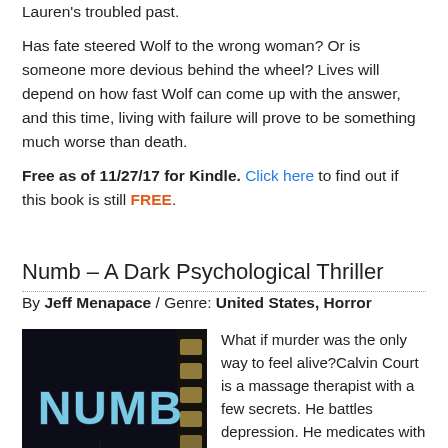Lauren's troubled past.
Has fate steered Wolf to the wrong woman? Or is someone more devious behind the wheel? Lives will depend on how fast Wolf can come up with the answer, and this time, living with failure will prove to be something much worse than death.
Free as of 11/27/17 for Kindle. Click here to find out if this book is still FREE.
Numb – A Dark Psychological Thriller
By Jeff Menapace / Genre: United States, Horror
[Figure (illustration): Book cover for 'Numb' showing the word NUMB in large blue letters against a dark dramatic background with red lighting effects]
What if murder was the only way to feel alive?Calvin Court is a massage therapist with a few secrets. He battles depression. He medicates with too much booze. And he's got a thing for one of his clients. She